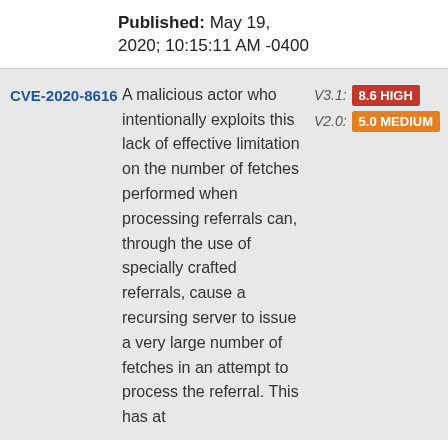Published: May 19, 2020; 10:15:11 AM -0400
CVE-2020-8616 — A malicious actor who intentionally exploits this lack of effective limitation on the number of fetches performed when processing referrals can, through the use of specially crafted referrals, cause a recursing server to issue a very large number of fetches in an attempt to process the referral. This has at